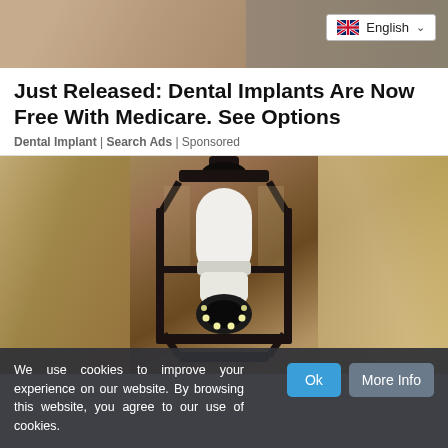[Figure (photo): Top banner image showing a person's arm/shoulder area in gray clothing, with a language selector (English with UK flag) overlay in the top right]
Just Released: Dental Implants Are Now Free With Medicare. See Options
Dental Implant | Search Ads | Sponsored
[Figure (photo): Close-up photo of a black wall-mounted lantern light fixture with a white smart bulb/camera device inserted in it, mounted on a textured stucco wall]
We use cookies to improve your experience on our website. By browsing this website, you agree to our use of cookies.